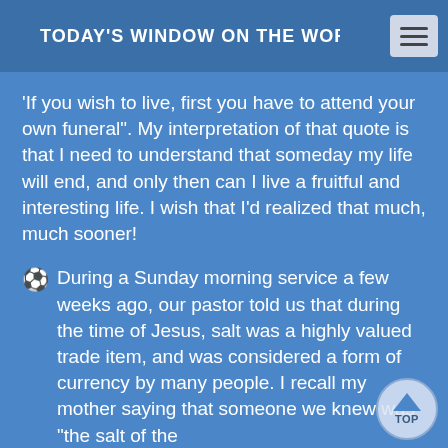TODAY'S WINDOW ON THE WORLD
'If you wish to live, first you have to attend your own funeral".  My interpretation of that quote is that I need to understand that someday my life will end, and only then can I live a fruitful and interesting life.  I wish that I'd realized that much, much sooner!
⚽ During a Sunday morning service a few weeks ago, our pastor told us that during the time of Jesus, salt was a highly valued trade item, and was considered a form of currency by many people.  I recall my mother saying that someone we knew was "the salt of the